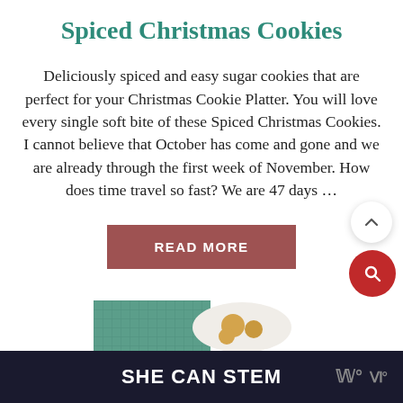Spiced Christmas Cookies
Deliciously spiced and easy sugar cookies that are perfect for your Christmas Cookie Platter. You will love every single soft bite of these Spiced Christmas Cookies. I cannot believe that October has come and gone and we are already through the first week of November. How does time travel so fast? We are 47 days …
READ MORE
[Figure (photo): Partial view of a food photo at the bottom of the card, showing a plate with Christmas cookies]
SHE CAN STEM